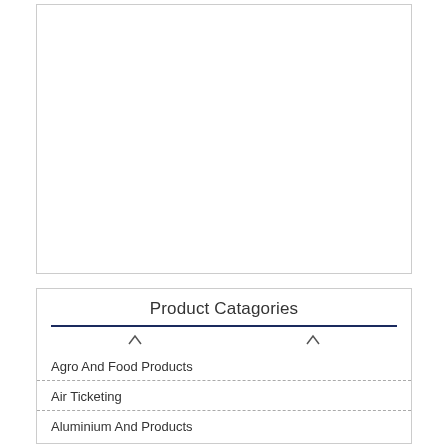[Figure (other): Empty white box with border, likely a placeholder for an image or chart]
Product Catagories
Agro And Food Products
Air Ticketing
Aluminium And Products